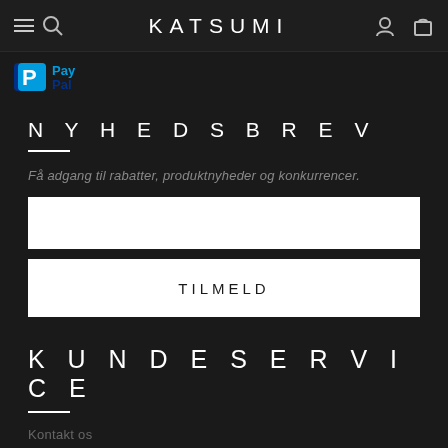KATSUMI
[Figure (logo): PayPal logo partially visible at top of page]
NYHEDSBREV
Få adgang til rabatter, produktnyheder og konkurrencer.
TILMELD
KUNDESERVICE
Kontakt os